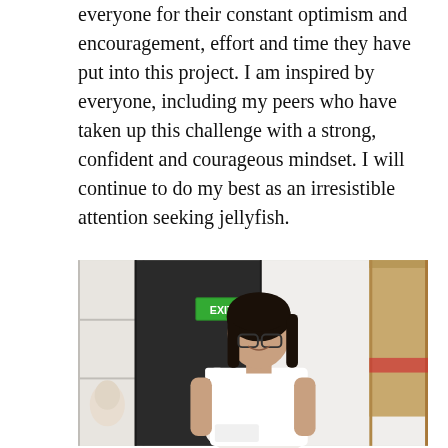everyone for their constant optimism and encouragement, effort and time they have put into this project. I am inspired by everyone, including my peers who have taken up this challenge with a strong, confident and courageous mindset. I will continue to do my best as an irresistible attention seeking jellyfish.
[Figure (photo): A young woman in a white t-shirt standing in a room, smiling at the camera. Behind her is a dark cabinet, an EXIT sign on the wall, white shelving units, and a cardboard box to the right. A white mannequin head is visible on a shelf to the left.]